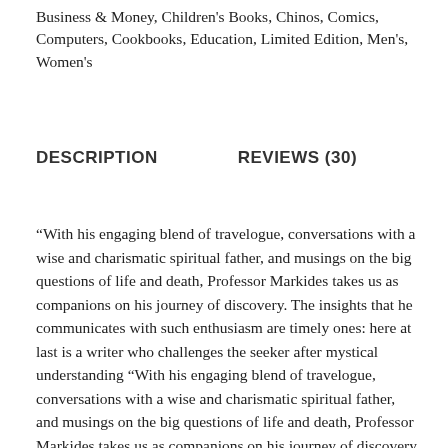Business & Money, Children's Books, Chinos, Comics, Computers, Cookbooks, Education, Limited Edition, Men's, Women's
DESCRIPTION      REVIEWS (30)
“With his engaging blend of travelogue, conversations with a wise and charismatic spiritual father, and musings on the big questions of life and death, Professor Markides takes us as companions on his journey of discovery. The insights that he communicates with such enthusiasm are timely ones: here at last is a writer who challenges the seeker after mystical understanding “With his engaging blend of travelogue, conversations with a wise and charismatic spiritual father, and musings on the big questions of life and death, Professor Markides takes us as companions on his journey of discovery.